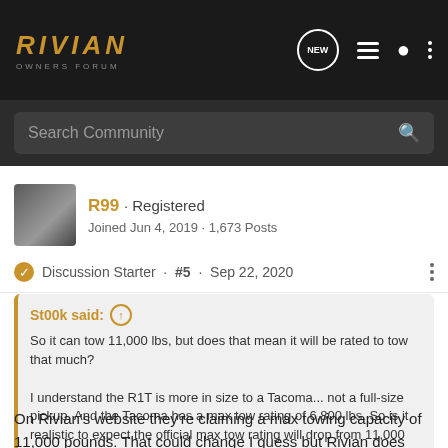RIVIAN OWNERS FORUM
Search Community
R99 · Registered
Joined Jun 4, 2019 · 1,673 Posts
Discussion Starter · #5 · Sep 22, 2020
St00k said:
So it can tow 11,000 lbs, but does that mean it will be rated to tow that much?

I understand the R1T is more in size to a Tacoma... not a full-size pickup. And the Tacoma has a max tow rating of 6,800 lbs. So is it realistic to expect the official max tow rating will drop from 11,000 lbs.
On Rivian's website they're claiming a max towing capacity of 11,000 pounds. That could change I guess but Rivian does seem keen on that number.